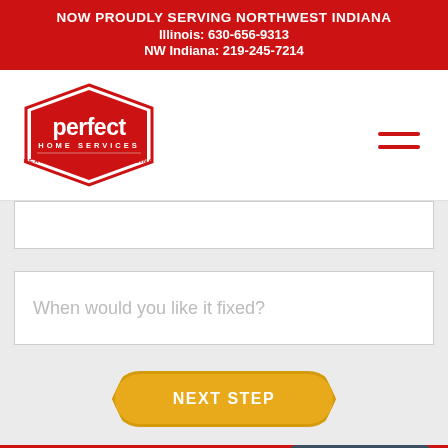NOW PROUDLY SERVING NORTHWEST INDIANA
Illinois: 630-656-9313
NW Indiana: 219-245-7214
[Figure (logo): Perfect Home Services logo — hexagonal red badge with white text: 'perfect HOME SERVICES HEATING • COOLING • PLUMBING']
When would you like it fixed?
NEXT STEP
Schedule Your Perfect Home Service Today